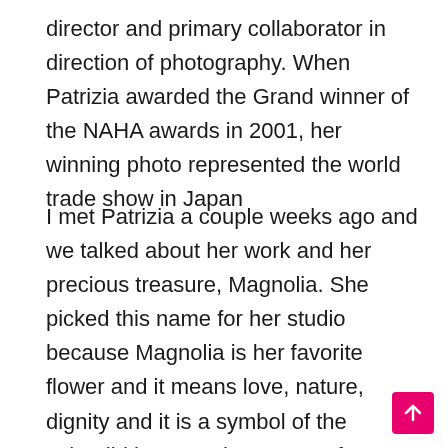director and primary collaborator in direction of photography. When Patrizia awarded the Grand winner of the NAHA awards in 2001, her winning photo represented the world trade show in Japan
I met Patrizia a couple weeks ago and we talked about her work and her precious treasure, Magnolia. She picked this name for her studio because Magnolia is her favorite flower and it means love, nature, dignity and it is a symbol of the splendid beauty. I have to confess that watching Patrizia's pictures is a real encounter with people's feelings, dreams, expectations, surprises, and they transmits you a big dose of happiness and tender.